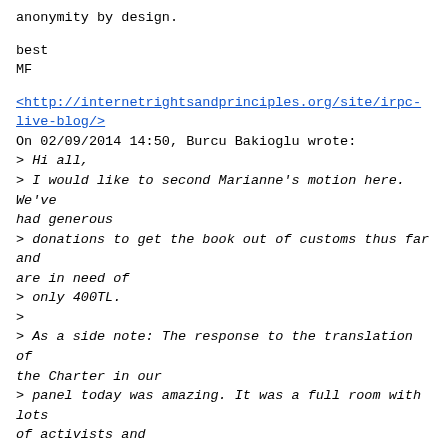anonymity by design.
best
MF
<http://internetrightsandprinciples.org/site/irpc-live-blog/>
On 02/09/2014 14:50, Burcu Bakioglu wrote:
> Hi all,
> I would like to second Marianne's motion here. We've had generous
> donations to get the book out of customs thus far and are in need of
> only 400TL.
>
> As a side note: The response to the translation of the Charter in our
> panel today was amazing. It was a full room with lots of activists and
> human rights representatives, lots of engaging questions at the end.
> The Turkish community and the panel attendants were really impressed
> by our work. So we feel that once the shipment arrives, the
> organization will make a great impact if it hadn't done so already.
>
> Great job Marianne and Robert!
>